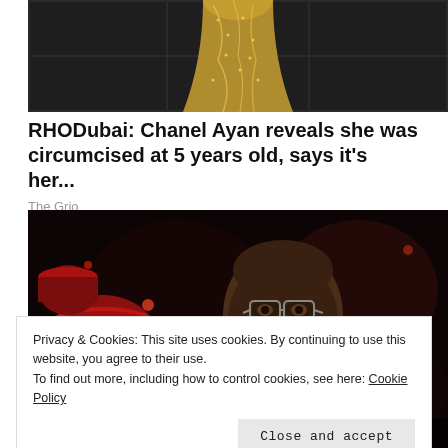[Figure (photo): Woman in a gold sequined dress standing against a dark paneled wall background, cropped to show torso and legs]
RHODubai: Chanel Ayan reveals she was circumcised at 5 years old, says it's her...
The Grio
[Figure (photo): Older man smiling, wearing glasses, in front of red drums and stage lighting with dark background]
The Grio
Privacy & Cookies: This site uses cookies. By continuing to use this website, you agree to their use.
To find out more, including how to control cookies, see here: Cookie Policy
Close and accept